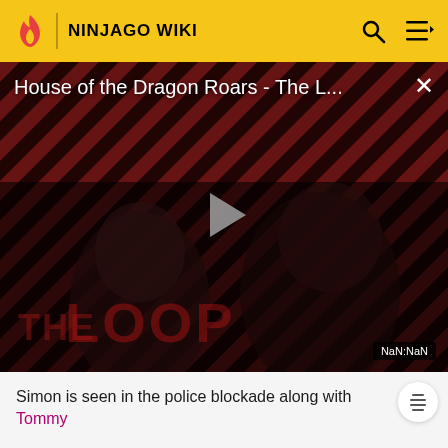NINJAGO WIKI
[Figure (screenshot): Video player showing 'House of the Dragon Roars - The L...' with a play button overlay, striped red/black background, two figures visible, 'THE LOOP' text, and NaN:NaN timestamp. A close (x) button is in the top right.]
Simon is seen in the police blockade along with Tommy
Hunted
Radio Free Ninjago